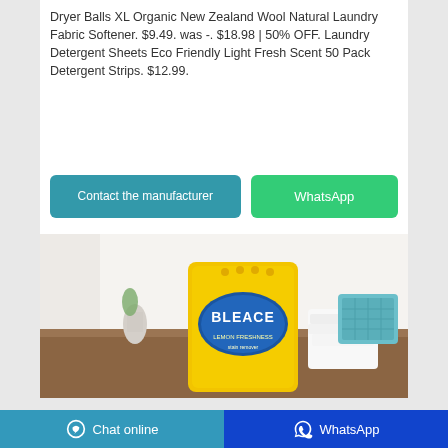Dryer Balls XL Organic New Zealand Wool Natural Laundry Fabric Softener. $9.49. was -. $18.98 | 50% OFF. Laundry Detergent Sheets Eco Friendly Light Fresh Scent 50 Pack Detergent Strips. $12.99.
[Figure (screenshot): Two buttons: 'Contact the manufacturer' (teal/blue) and 'WhatsApp' (green)]
[Figure (photo): Product photo of a yellow bag of BLEACE Lemon Freshness laundry detergent on a wooden surface with white towels and teal basket in background]
Chat online   WhatsApp